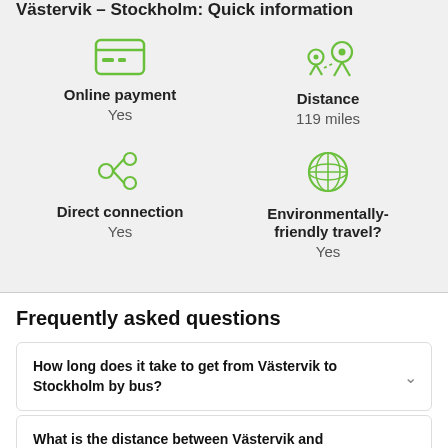Västervik – Stockholm: Quick information
[Figure (infographic): Four info cells in a 2x2 grid: Online payment (Yes), Distance (119 miles), Direct connection (Yes), Environmentally-friendly travel? (Yes), each with a green icon]
Frequently asked questions
How long does it take to get from Västervik to Stockholm by bus?
What is the distance between Västervik and